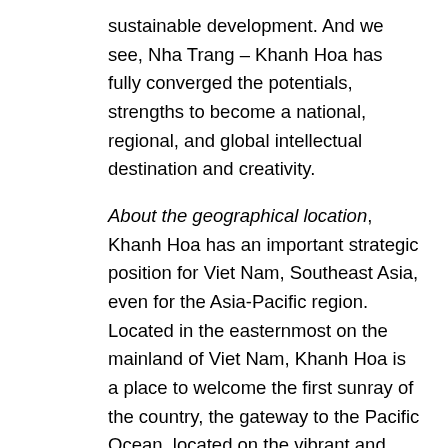sustainable development. And we see, Nha Trang – Khanh Hoa has fully converged the potentials, strengths to become a national, regional, and global intellectual destination and creativity.
About the geographical location, Khanh Hoa has an important strategic position for Viet Nam, Southeast Asia, even for the Asia-Pacific region. Located in the easternmost on the mainland of Viet Nam, Khanh Hoa is a place to welcome the first sunray of the country, the gateway to the Pacific Ocean, located on the vibrant and most resourceful waters in the world; In which Truong Sa island district with a lot of precious resources. This only region in Viet Nam owns the seas with a considerable depth. The average temperature is 26.5 °C / year and has a mild climate, ideal for high-end tourism.
Khanh Hoa coast is also the interference of the hot